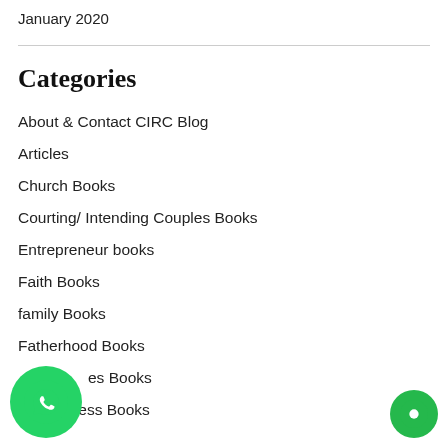January 2020
Categories
About & Contact CIRC Blog
Articles
Church Books
Courting/ Intending Couples Books
Entrepreneur books
Faith Books
family Books
Fatherhood Books
…es Books
Forgiveness Books